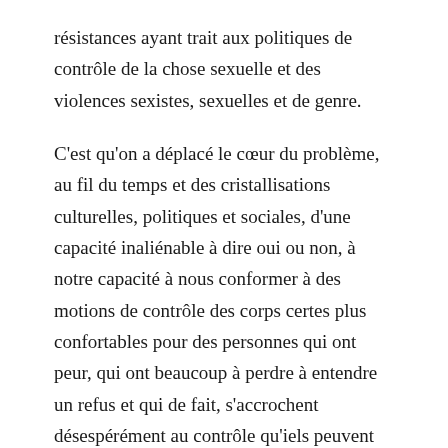résistances ayant trait aux politiques de contrôle de la chose sexuelle et des violences sexistes, sexuelles et de genre.
C'est qu'on a déplacé le cœur du problème, au fil du temps et des cristallisations culturelles, politiques et sociales, d'une capacité inaliénable à dire oui ou non, à notre capacité à nous conformer à des motions de contrôle des corps certes plus confortables pour des personnes qui ont peur, qui ont beaucoup à perdre à entendre un refus et qui de fait, s'accrochent désespérément au contrôle qu'iels peuvent avoir sur leurs frustrations et leurs souffrances et donc, sur les autres et la possibilité de leur objectification. C'est à toutes ces questions, entre autres, qu'un tel remodelage